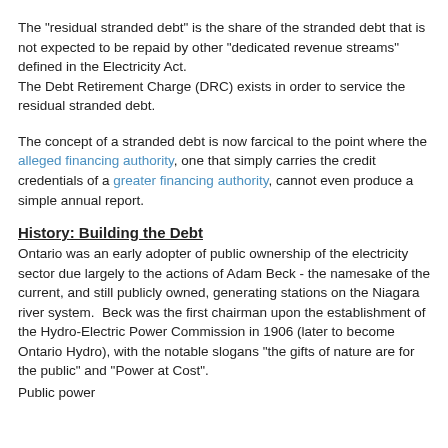The "residual stranded debt" is the share of the stranded debt that is not expected to be repaid by other "dedicated revenue streams" defined in the Electricity Act. The Debt Retirement Charge (DRC) exists in order to service the residual stranded debt.
The concept of a stranded debt is now farcical to the point where the alleged financing authority, one that simply carries the credit credentials of a greater financing authority, cannot even produce a simple annual report.
History: Building the Debt
Ontario was an early adopter of public ownership of the electricity sector due largely to the actions of Adam Beck - the namesake of the current, and still publicly owned, generating stations on the Niagara river system.  Beck was the first chairman upon the establishment of the Hydro-Electric Power Commission in 1906 (later to become Ontario Hydro), with the notable slogans "the gifts of nature are for the public" and "Power at Cost".
Public power